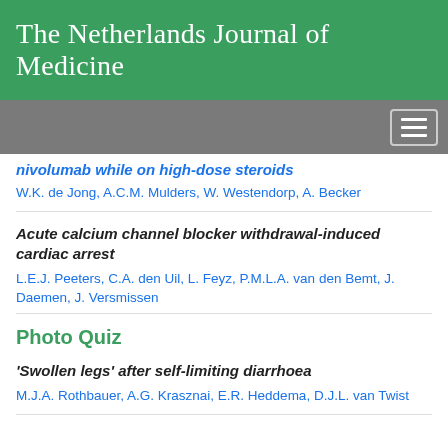The Netherlands Journal of Medicine
nivolumab while on high-dose steroids
W.K. de Jong, A.C.M. Mulders, W. Westendorp, A. Becker
Acute calcium channel blocker withdrawal-induced cardiac arrest
L.E.J. Peeters, C.A. den Uil, L. Feyz, P.M.L.A. van den Bemt, J. Daemen, J. Versmissen
Photo Quiz
‘Swollen legs’ after self-limiting diarrhoea
M.J.A. Rothbauer, A.G. Krasznai, E.R. Heddema, D.J.L. van Twist